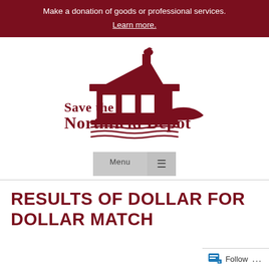Make a donation of goods or professional services.
Learn more.
[Figure (logo): Save the Northfield Depot logo with building illustration and text]
Menu
RESULTS OF DOLLAR FOR DOLLAR MATCH